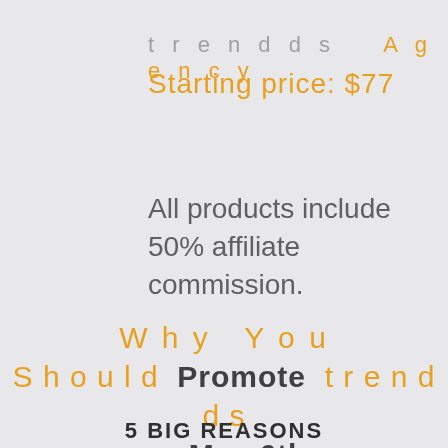trendds  Agency
Starting price: $77
All products include 50% affiliate commission.
Why You Should Promote trendds on May 6th
5 BIG REASONS